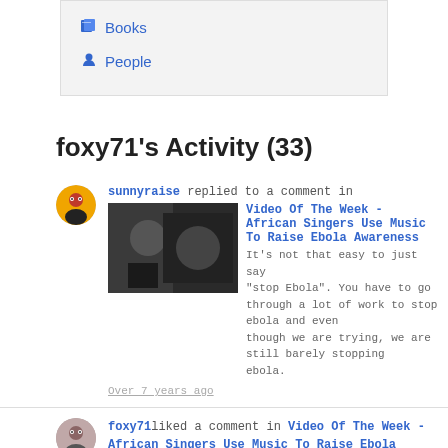Books
People
foxy71's Activity (33)
sunnyraise replied to a comment in Video Of The Week - African Singers Use Music To Raise Ebola Awareness It's not that easy to just say "stop Ebola". You have to go through a lot of work to stop ebola and even though we are trying, we are still barely stopping ebola. Over 7 years ago
foxy71 liked a comment in Video Of The Week - African Singers Use Music To Raise Ebola Awareness. Video Of The Week - African Singers Use Music To Raise Ebola Awareness